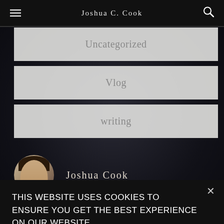Joshua C. Cook
Uncategorized
Vlog
writing
Joshua Cook
This website uses cookies to ensure you get the best experience on our website.
ACCEPT & CLOSE
Learn more